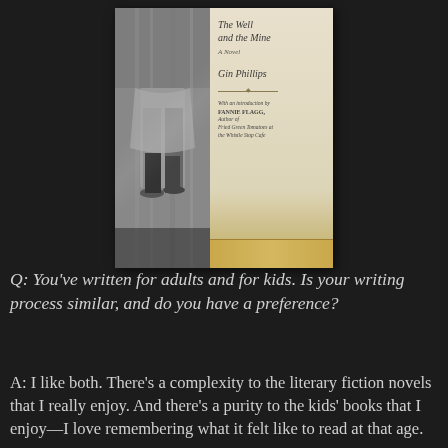[Figure (photo): Book cover of 'The Well and the Mine' by Gin Phillips, showing a black-and-white photo of a person's legs on the left half and cream/tan text panel on the right with title, author name, and introduction credit by Fannie Flagg]
Q: You've written for adults and for kids. Is your writing process similar, and do you have a preference?
A: I like both. There's a complexity to the literary fiction novels that I really enjoy. And there's a purity to the kids' books that I enjoy—I love remembering what it felt like to read at that age.